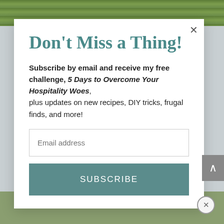[Figure (photo): Green grass background photo strip at top of page]
Don't Miss a Thing!
Subscribe by email and receive my free challenge, 5 Days to Overcome Your Hospitality Woes, plus updates on new recipes, DIY tricks, frugal finds, and more!
[Figure (other): Email address input field]
[Figure (other): SUBSCRIBE button]
[Figure (photo): Green grass background photo strip at bottom of page]